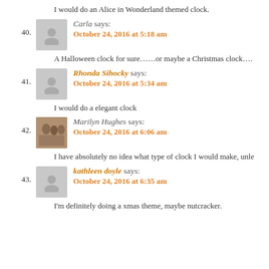I would do an Alice in Wonderland themed clock.
40. Carla says:
October 24, 2016 at 5:18 am
A Halloween clock for sure……or maybe a Christmas clock….
41. Rhonda Sihocky says:
October 24, 2016 at 5:34 am
I would do a elegant clock
42. Marilyn Hughes says:
October 24, 2016 at 6:06 am
I have absolutely no idea what type of clock I would make, unle
43. kathleen doyle says:
October 24, 2016 at 6:35 am
I'm definitely doing a xmas theme, maybe nutcracker.